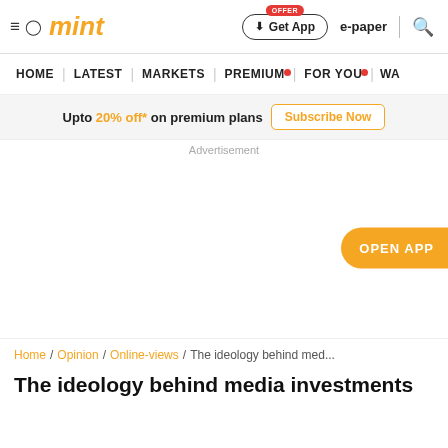mint | Get App | e-paper | search
HOME | LATEST | MARKETS | PREMIUM | FOR YOU | WA
Upto 20% off* on premium plans  Subscribe Now
Advertisement
OPEN APP
Home / Opinion / Online-views / The ideology behind med...
The ideology behind media investments